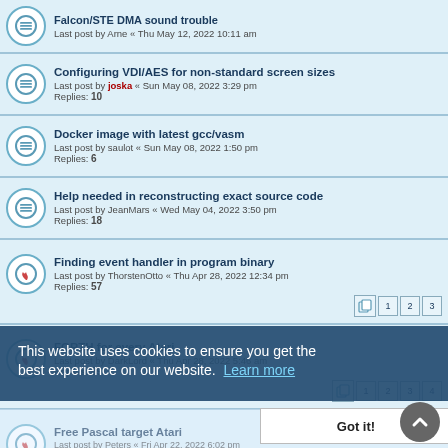Falcon/STE DMA sound trouble
Last post by Arne « Thu May 12, 2022 10:11 am
Configuring VDI/AES for non-standard screen sizes
Last post by joska « Sun May 08, 2022 3:29 pm
Replies: 10
Docker image with latest gcc/vasm
Last post by saulot « Sun May 08, 2022 1:50 pm
Replies: 6
Help needed in reconstructing exact source code
Last post by JeanMars « Wed May 04, 2022 3:50 pm
Replies: 18
Finding event handler in program binary
Last post by ThorstenOtto « Thu Apr 28, 2022 12:34 pm
Replies: 57  Pages: 1 2 3
FORTH for every Atari
Last post by DarkLord « Thu Apr 28, 2022 5:46 am
Replies: 89  Pages: 1 2 3 4
Free Pascal target Atari
Last post by Peters « Fri Apr 22, 2022 6:02 pm
Replies: 304  Pages: ... 10 11 12 13
BigDOS 8 and Mxalloc()
Last post by czietz « Tue Apr 19, 2022 6:11 pm
Replies: 5
atari coding book found on amiga site
Last post by lp « Tue Apr 19, 2022 1:35 pm
Replies: 3
This website uses cookies to ensure you get the best experience on our website. Learn more
Got it!